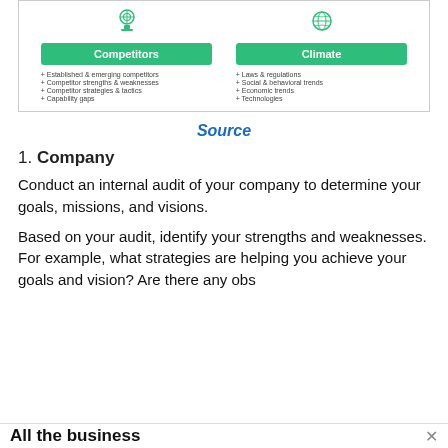[Figure (infographic): Diagram showing two categories: Competitors (with icon and bullet list: Established & emerging competitors, Competitor strengths & weaknesses, Competitor strategies & tactics, Capability gaps) and Climate (with globe icon and bullet list: Laws & regulations, Social & behavioral trends, Economic trends, Technologies)]
Source
1. Company
Conduct an internal audit of your company to determine your goals, missions, and visions.
Based on your audit, identify your strengths and weaknesses. For example, what strategies are helping you achieve your goals and vision? Are there any obs
All the business